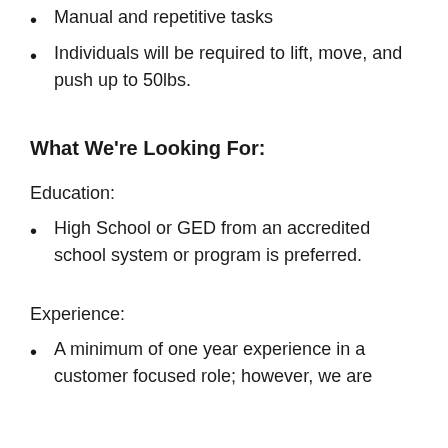Manual and repetitive tasks
Individuals will be required to lift, move, and push up to 50lbs.
What We're Looking For:
Education:
High School or GED from an accredited school system or program is preferred.
Experience:
A minimum of one year experience in a customer focused role; however, we are